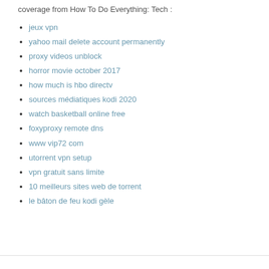coverage from How To Do Everything: Tech :
jeux vpn
yahoo mail delete account permanently
proxy videos unblock
horror movie october 2017
how much is hbo directv
sources médiatiques kodi 2020
watch basketball online free
foxyproxy remote dns
www vip72 com
utorrent vpn setup
vpn gratuit sans limite
10 meilleurs sites web de torrent
le bâton de feu kodi gèle